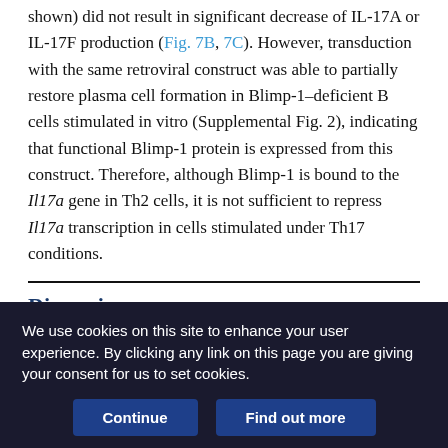shown) did not result in significant decrease of IL-17A or IL-17F production (Fig. 7B, 7C). However, transduction with the same retroviral construct was able to partially restore plasma cell formation in Blimp-1–deficient B cells stimulated in vitro (Supplemental Fig. 2), indicating that functional Blimp-1 protein is expressed from this construct. Therefore, although Blimp-1 is bound to the Il17a gene in Th2 cells, it is not sufficient to repress Il17a transcription in cells stimulated under Th17 conditions.
Discussion
The results of this study provide evidence for a nonredundant role for the transcriptional regulator Blimp-1 in constraining the
We use cookies on this site to enhance your user experience. By clicking any link on this page you are giving your consent for us to set cookies.